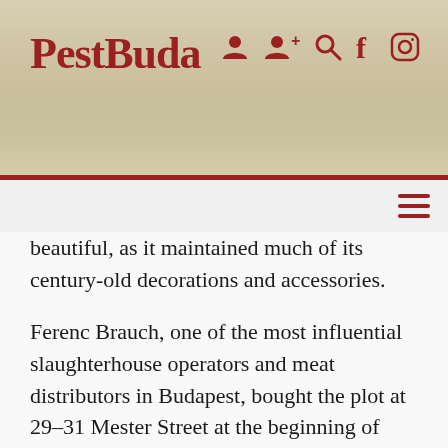PestBuda
beautiful, as it maintained much of its century-old decorations and accessories.
Ferenc Brauch, one of the most influential slaughterhouse operators and meat distributors in Budapest, bought the plot at 29–31 Mester Street at the beginning of 1903. He used the area as the headquarters of his sausage and salami factory. At the time, Mester Street was not only one of the most quickly developing areas of the city but close to the slaughterhouses in Ferencváros (beef, pork and horse) and the Central Market Hall. This